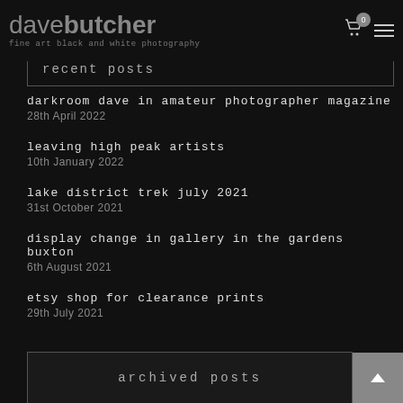dave butcher — fine art black and white photography
recent posts
darkroom dave in amateur photographer magazine
28th April 2022
leaving high peak artists
10th January 2022
lake district trek july 2021
31st October 2021
display change in gallery in the gardens buxton
6th August 2021
etsy shop for clearance prints
29th July 2021
archived posts